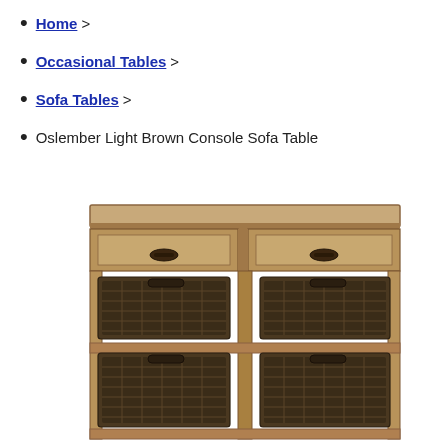Home >
Occasional Tables >
Sofa Tables >
Oslember Light Brown Console Sofa Table
[Figure (photo): Oslember Light Brown Console Sofa Table with two drawers and four wicker storage baskets on lower shelves, made of light brown wood]